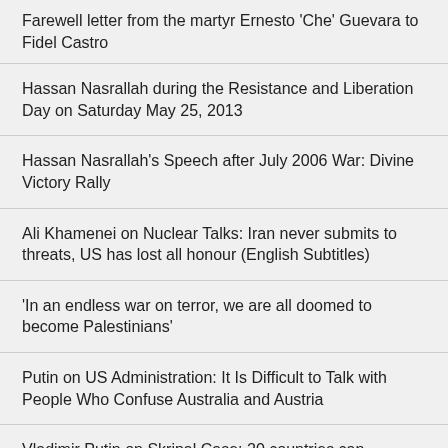Farewell letter from the martyr Ernesto 'Che' Guevara to Fidel Castro
Hassan Nasrallah during the Resistance and Liberation Day on Saturday May 25, 2013
Hassan Nasrallah's Speech after July 2006 War: Divine Victory Rally
Ali Khamenei on Nuclear Talks: Iran never submits to threats, US has lost all honour (English Subtitles)
'In an endless war on terror, we are all doomed to become Palestinians'
Putin on US Administration: It Is Difficult to Talk with People Who Confuse Australia and Austria
Vladimir Putin on Skripal Case: 20 countries can Manufacture 'Novichok' Agent